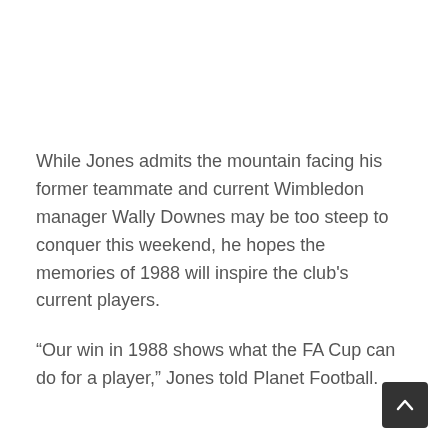While Jones admits the mountain facing his former teammate and current Wimbledon manager Wally Downes may be too steep to conquer this weekend, he hopes the memories of 1988 will inspire the club's current players.
“Our win in 1988 shows what the FA Cup can do for a player,” Jones told Planet Football.